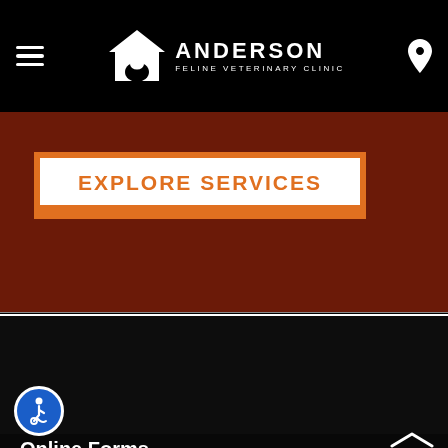ANDERSON FELINE VETERINARY CLINIC
EXPLORE SERVICES
Contact Us
Contact Us
Online Forms
Online Forms